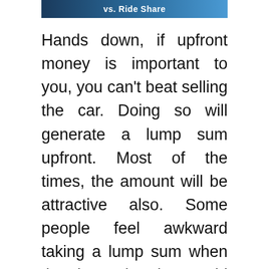[Figure (photo): Partial banner image showing text 'vs. Ride Share' with a dark blue background]
Hands down, if upfront money is important to you, you can't beat selling the car. Doing so will generate a lump sum upfront. Most of the times, the amount will be attractive also. Some people feel awkward taking a lump sum when they know that they could have created a dividend stream from their used asset. Ridesharing